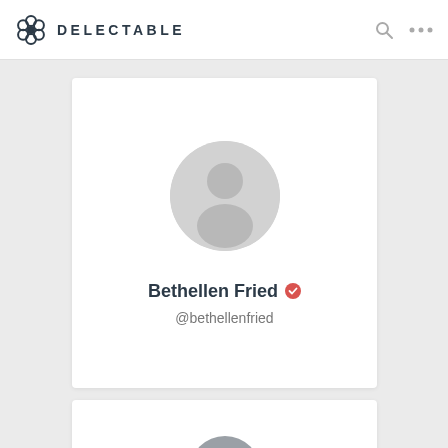DELECTABLE
[Figure (screenshot): User profile card for Bethellen Fried with a placeholder avatar (grey silhouette), verified red badge, and username @bethellenfried on the Delectable app]
Bethellen Fried @bethellenfried
[Figure (screenshot): Partially visible second profile card showing a grey avatar with letter B]